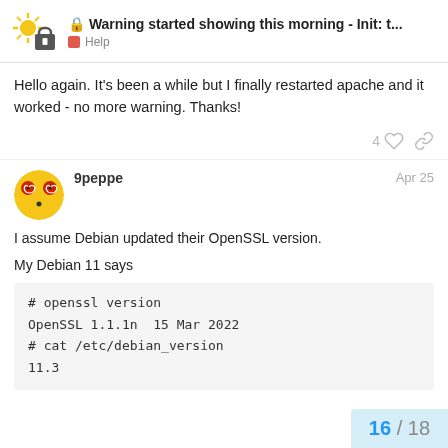Warning started showing this morning - Init: t... | Help
Hello again. It's been a while but I finally restarted apache and it worked - no more warning. Thanks!
9peppe  Apr 25
I assume Debian updated their OpenSSL version.

My Debian 11 says
# openssl version
OpenSSL 1.1.1n  15 Mar 2022
# cat /etc/debian_version
11.3
16 / 18